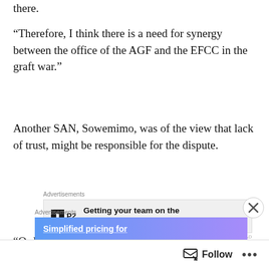there.
“Therefore, I think there is a need for synergy between the office of the AGF and the EFCC in the graft war.”
Another SAN, Sowemimo, was of the view that lack of trust, might be responsible for the dispute.
[Figure (other): Advertisement banner: P2 logo with text 'Getting your team on the same page is easy. And free.']
“Ordinarily, there should be no dispute, because under the Constitution, the AGF is the Chief Law
[Figure (other): Advertisement banner: 'Simplified pricing for' with blue/purple gradient background]
Follow ...